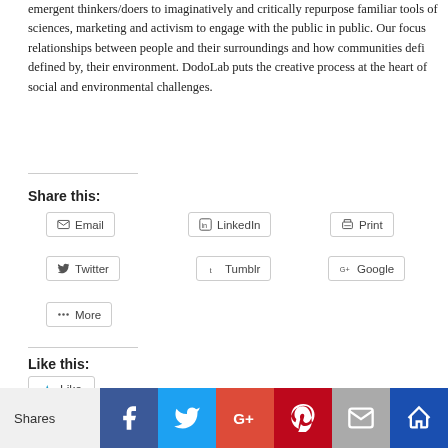emergent thinkers/doers to imaginatively and critically repurpose familiar tools of sciences, marketing and activism to engage with the public in public. Our focus relationships between people and their surroundings and how communities defi defined by, their environment. DodoLab puts the creative process at the heart of social and environmental challenges.
Share this:
Email
LinkedIn
Print
Facebook
Twitter
Tumblr
Google
Pinterest
More
Like this:
Like
Be the first to like this.
Home » Community Projects, Dodolab, eBooks, Learning, Schools & Education
Rijeka, City of Diversities by DodoLab
Shares